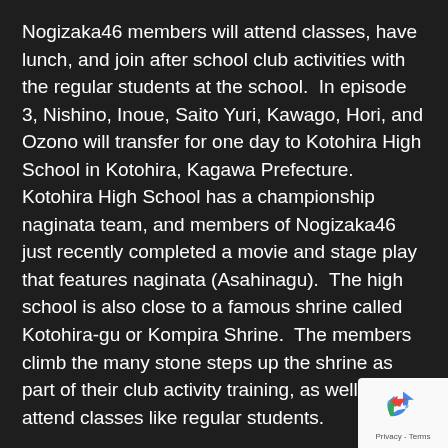Nogizaka46 members will attend classes, have lunch, and join after school club activities with the regular students at the school.  In episode 3, Nishino, Inoue, Saito Yuri, Kawago, Hori, and Ozono will transfer for one day to Kotohira High School in Kotohira, Kagawa Prefecture.  Kotohira High School has a championship naginata team, and members of Nogizaka46 just recently completed a movie and stage play that features naginata (Asahinagu).  The high school is also close to a famous shrine called Kotohira-gu or Kompira Shrine.  The members climb the many stone steps up the shrine as part of their club activity training, as well as attend classes like regular students.
A request: if you have a Vidme account, please give me a follow here.  Having 50 followers or more will allow me to upload more videos on Vidme (it currently won't allow to upload more than a certain amount a week and other
[Figure (other): reCAPTCHA badge with blue recycling-style arrows logo and Privacy - Terms text]